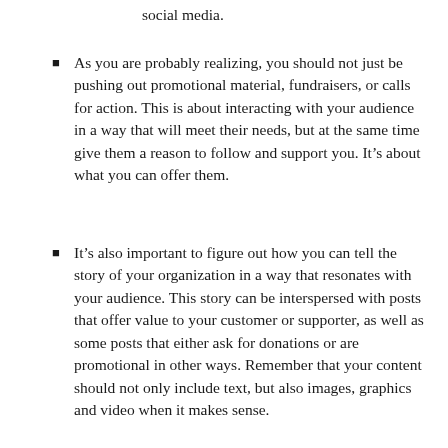social media.
As you are probably realizing, you should not just be pushing out promotional material, fundraisers, or calls for action. This is about interacting with your audience in a way that will meet their needs, but at the same time give them a reason to follow and support you. It’s about what you can offer them.
It’s also important to figure out how you can tell the story of your organization in a way that resonates with your audience. This story can be interspersed with posts that offer value to your customer or supporter, as well as some posts that either ask for donations or are promotional in other ways. Remember that your content should not only include text, but also images, graphics and video when it makes sense.